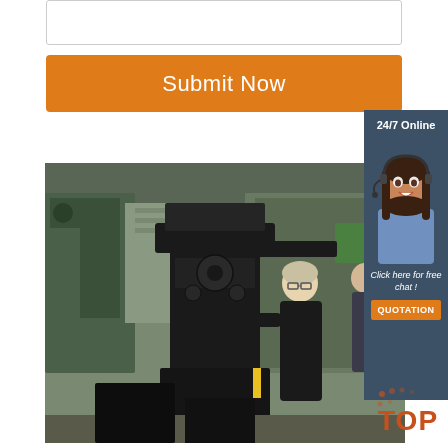[Figure (screenshot): Empty text input area / form field at top of page]
Submit Now
[Figure (photo): Industrial workshop scene: a large black press or stamping machine in the foreground, a worker in dark clothing standing beside it, another person visible in background, green machinery visible, industrial shed setting]
[Figure (photo): 24/7 Online sidebar panel with dark blue-grey background showing a smiling woman with headset (customer support agent), text 'Click here for free chat!' and an orange QUOTATION button]
[Figure (logo): TOP badge/logo in bottom right corner with orange dot pattern]